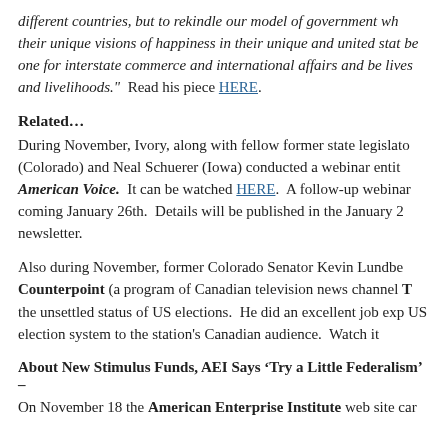different countries, but to rekindle our model of government wh their unique visions of happiness in their unique and united stat be one for interstate commerce and international affairs and be lives and livelihoods."  Read his piece HERE.
Related...
During November, Ivory, along with fellow former state legislato (Colorado) and Neal Schuerer (Iowa) conducted a webinar entit American Voice.  It can be watched HERE.  A follow-up webinar coming January 26th.  Details will be published in the January 2 newsletter.
Also during November, former Colorado Senator Kevin Lundbe Counterpoint (a program of Canadian television news channel T the unsettled status of US elections.  He did an excellent job exp US election system to the station's Canadian audience.  Watch it
About New Stimulus Funds, AEI Says ‘Try a Little Federalism’ –
On November 18 the American Enterprise Institute web site car